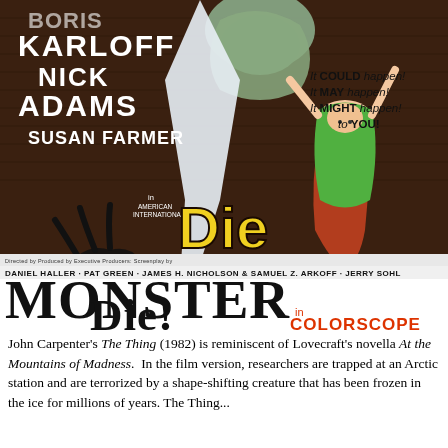[Figure (illustration): Movie poster for 'Die Monster Die!' featuring Boris Karloff, Nick Adams, Susan Farmer. American International Pictures. Shows title text in large stylized letters, a woman falling, and creature imagery. Credits at bottom list Daniel Haller, Pat Green, James H. Nicholson & Samuel Z. Arkoff, Jerry Sohl. 'in COLORSCOPE' tagline. Taglines: 'It COULD happen! It MAY happen! It MIGHT happen! to YOU!']
John Carpenter's The Thing (1982) is reminiscent of Lovecraft's novella At the Mountains of Madness.  In the film version, researchers are trapped at an Arctic station and are terrorized by a shape-shifting creature that has been frozen in the ice for millions of years. The Thing...